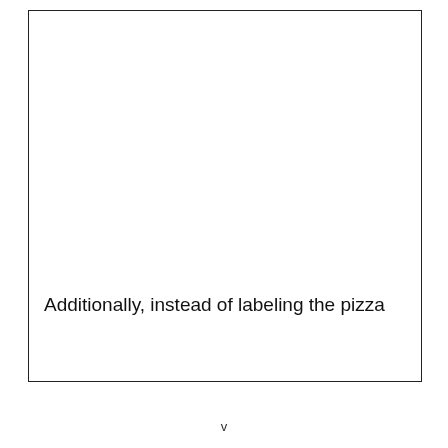Additionally, instead of labeling the pizza
v